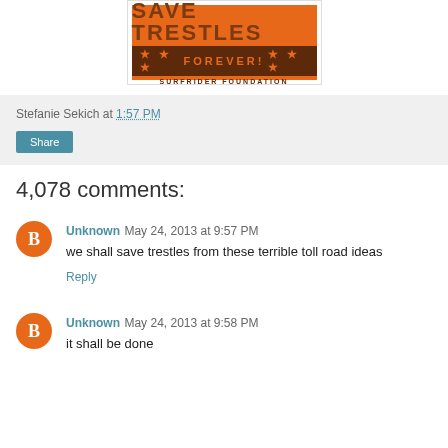[Figure (illustration): Orange Save Trestles Forever! Surfrider Foundation banner/poster image in a white frame]
Stefanie Sekich at 1:57 PM
Share
4,078 comments:
Unknown May 24, 2013 at 9:57 PM
we shall save trestles from these terrible toll road ideas
Reply
Unknown May 24, 2013 at 9:58 PM
it shall be done